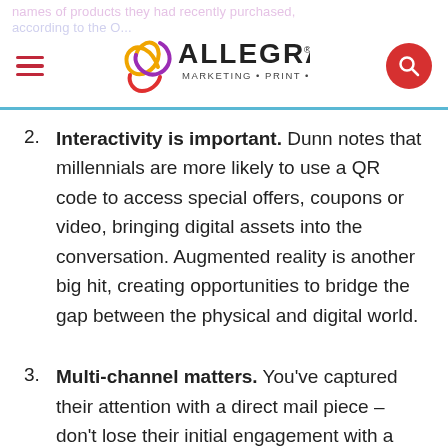Allegra Marketing • Print • Mail — navigation header
2. Interactivity is important. Dunn notes that millennials are more likely to use a QR code to access special offers, coupons or video, bringing digital assets into the conversation. Augmented reality is another big hit, creating opportunities to bridge the gap between the physical and digital world.
3. Multi-channel matters. You've captured their attention with a direct mail piece – don't lose their initial engagement with a lackluster website.